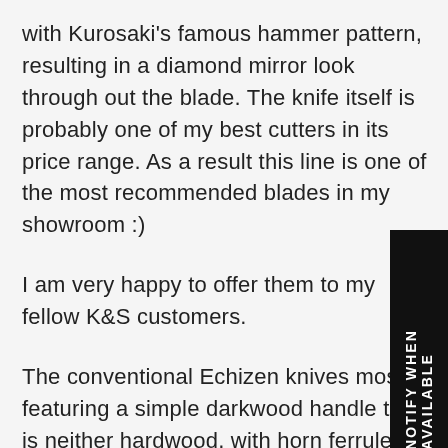with Kurosaki's famous hammer pattern, resulting in a diamond mirror look through out the blade. The knife itself is probably one of my best cutters in its price range. As a result this line is one of the most recommended blades in my showroom :)
I am very happy to offer them to my fellow K&S customers.
The conventional Echizen knives mostly featuring a simple darkwood handle that is neither hardwood, with horn ferrule, and without any taper. I decided that the Shizuku line warrants a better handle in the future. For the older knives, since we also receive them handled, the cost of replacing them with K&S handles are quite expensive. So this time around I ordered the blade only and as a result I am able to install the much better quality K&S handles. The